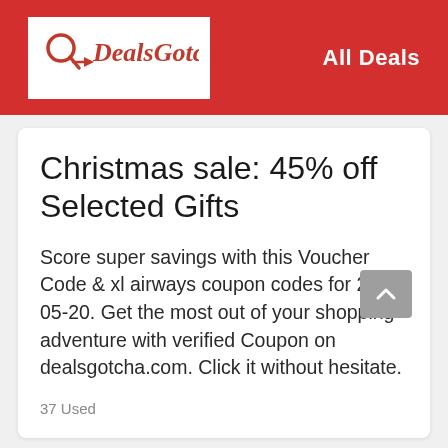DealsGotcha! — All Deals
Christmas sale: 45% off Selected Gifts
Score super savings with this Voucher Code & xl airways coupon codes for 2021-05-20. Get the most out of your shopping adventure with verified Coupon on dealsgotcha.com. Click it without hesitate.
37 Used